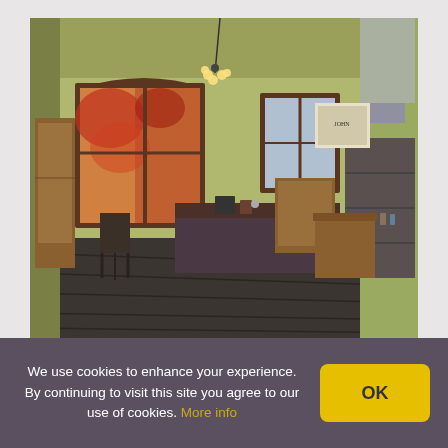[Figure (photo): Interior of a vintage apothecary or antique shop with wooden floors, large arched windows showing autumn foliage, pendant light fixture, display cases, a counter draped with dark fabric, shelves with bottles and items, and old-fashioned equipment. Warm HDR-style photography.]
We use cookies to enhance your experience. By continuing to visit this site you agree to our use of cookies. More info